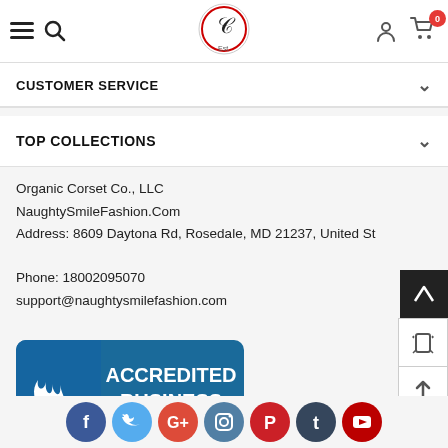Navigation bar with menu, search, logo, user icon, cart (0)
CUSTOMER SERVICE
TOP COLLECTIONS
Organic Corset Co., LLC
NaughtySmileFashion.Com
Address: 8609 Daytona Rd, Rosedale, MD 21237, United States
Phone: 18002095070
support@naughtysmilefashion.com
[Figure (logo): BBB Accredited Business seal with rating A+]
[Figure (infographic): Social media icons row: Facebook, Twitter, Google+, Instagram, Pinterest, Tumblr, YouTube]